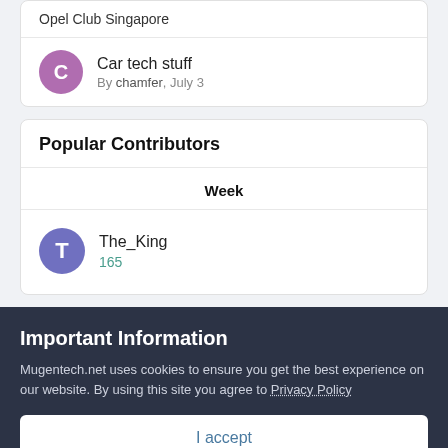Opel Club Singapore
Car tech stuff
By chamfer, July 3
Popular Contributors
Week
The_King
165
Important Information
Mugentech.net uses cookies to ensure you get the best experience on our website. By using this site you agree to Privacy Policy
I accept